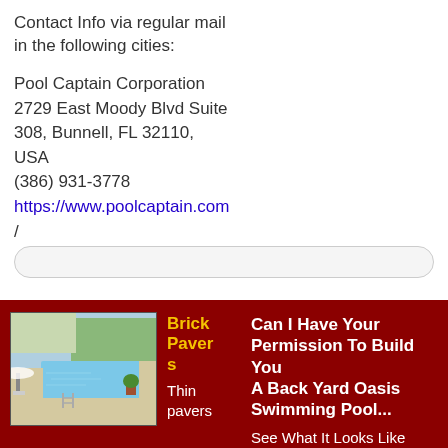Contact Info via regular mail in the following cities:
Pool Captain Corporation
2729 East Moody Blvd Suite 308, Bunnell, FL 32110, USA
(386) 931-3778
https://www.poolcaptain.com /
[Figure (screenshot): Search input bar, rounded rectangle, light gray background]
[Figure (photo): Outdoor swimming pool with brick pavers, patio furniture, and tropical plants]
Brick Pavers
Thin pavers
Can I Have Your Permission To Build You A Back Yard Oasis Swimming Pool...
See What It Looks Like Before